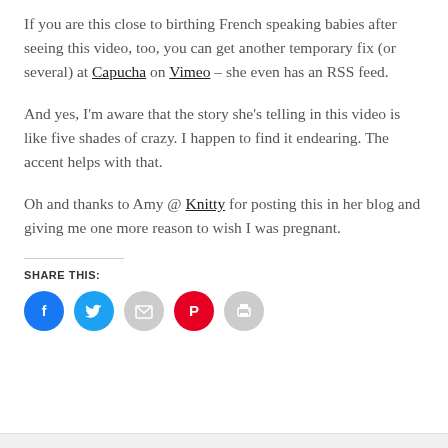If you are this close to birthing French speaking babies after seeing this video, too, you can get another temporary fix (or several) at Capucha on Vimeo – she even has an RSS feed.
And yes, I'm aware that the story she's telling in this video is like five shades of crazy. I happen to find it endearing. The accent helps with that.
Oh and thanks to Amy @ Knitty for posting this in her blog and giving me one more reason to wish I was pregnant.
SHARE THIS:
[Figure (infographic): Row of five circular social share buttons: Facebook (blue), Twitter (blue), Email (gray), Pinterest (red), Print (gray)]